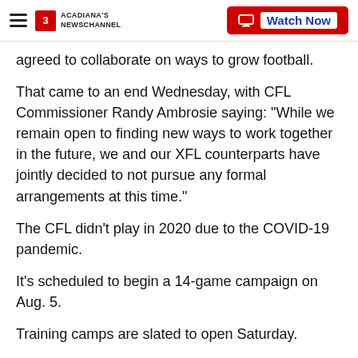Acadiana's Newschannel — Watch Now
agreed to collaborate on ways to grow football.
That came to an end Wednesday, with CFL Commissioner Randy Ambrosie saying: "While we remain open to finding new ways to work together in the future, we and our XFL counterparts have jointly decided to not pursue any formal arrangements at this time."
The CFL didn't play in 2020 due to the COVID-19 pandemic.
It's scheduled to begin a 14-game campaign on Aug. 5.
Training camps are slated to open Saturday.